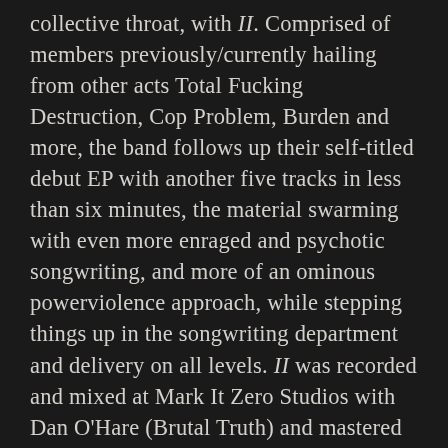collective throat, with II. Comprised of members previously/currently hailing from other acts Total Fucking Destruction, Cop Problem, Burden and more, the band follows up their self-titled debut EP with another five tracks in less than six minutes, the material swarming with even more enraged and psychotic songwriting, and more of an ominous powerviolence approach, while stepping things up in the songwriting department and delivery on all levels. II was recorded and mixed at Mark It Zero Studios with Dan O'Hare (Brutal Truth) and mastered by Brad Boatright (Tragedy, Baptists, Code Orange Kids) at Audiosiege. The first pressing limited to 300 copies on vibrant red 7″ vinyl, enclosed in the 7″ is a document that function's as a real, personal Living Will, in the